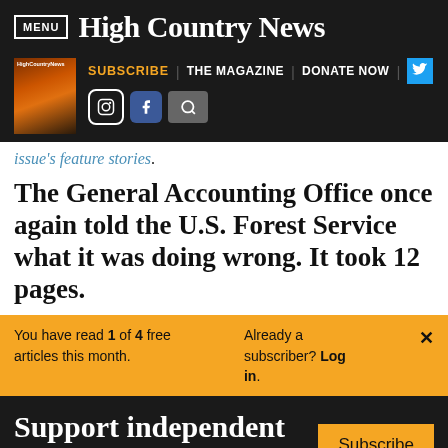MENU | High Country News
SUBSCRIBE | THE MAGAZINE | DONATE NOW
issue's feature stories.
The General Accounting Office once again told the U.S. Forest Service what it was doing wrong. It took 12 pages.
You have read 1 of 4 free articles this month. Already a subscriber? Log in.
Support independent journalism. Subscribe